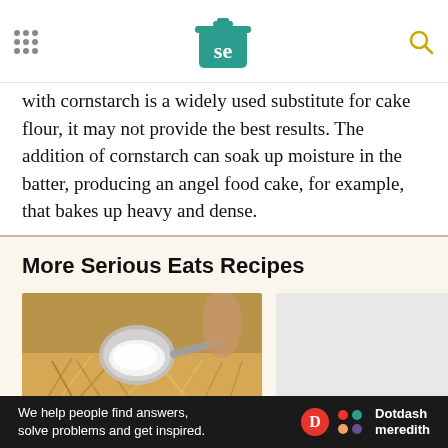Serious Eats header with logo and navigation
with cornstarch is a widely used substitute for cake flour, it may not provide the best results. The addition of cornstarch can soak up moisture in the batter, producing an angel food cake, for example, that bakes up heavy and dense.
More Serious Eats Recipes
[Figure (photo): Close-up photo of flour being measured with a metal scoop over shredded ingredients]
[Figure (other): Advertisement placeholder box]
We help people find answers, solve problems and get inspired. Dotdash meredith